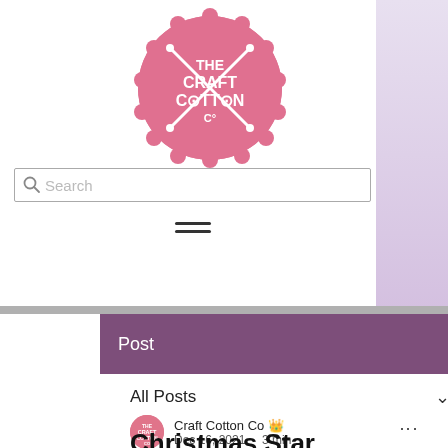[Figure (logo): The Craft Cotton Co circular pink logo with knitting needles, white text on pink scalloped circle]
[Figure (screenshot): Search bar with magnifying glass icon and placeholder text 'Search']
[Figure (other): Hamburger menu icon - three horizontal lines]
Post
All Posts
Craft Cotton Co  Dec 16, 2021 · 3 min
Christmas Star Decoration